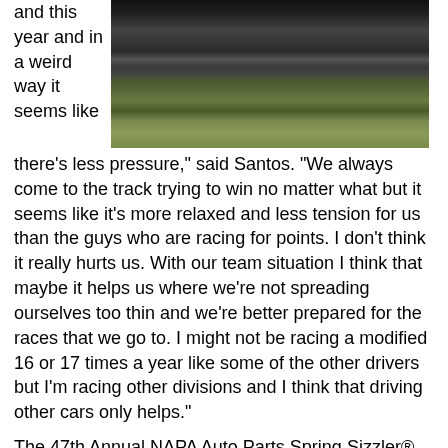and this year and in a weird way it seems like
[Figure (photo): Racing cars on a track, aerial or side view showing multiple modified race cars on a dark asphalt track with green grass/infield visible]
there's less pressure,” said Santos. “We always come to the track trying to win no matter what but it seems like it’s more relaxed and less tension for us than the guys who are racing for points. I don’t think it really hurts us. With our team situation I think that maybe it helps us where we’re not spreading ourselves too thin and we’re better prepared for the races that we go to. I might not be racing a modified 16 or 17 times a year like some of the other drivers but I’m racing other divisions and I think that driving other cars only helps.”
The 47th Annual NAPA Auto Parts Spring Sizzler® takes the green flag this weekend, April 27-29. Tickets for the “Greatest Race in the History of Spring” are on sale now at the Speedway Box Office. Tickets are priced at $40.00 for adult general admission tickets, $5.00